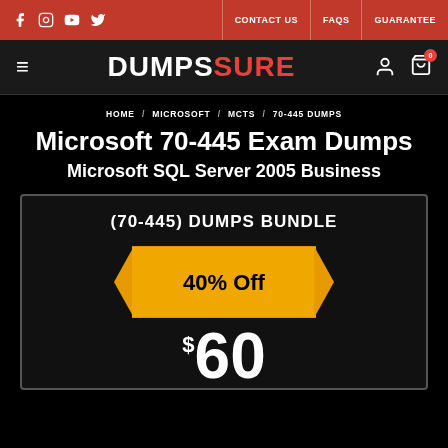DumpsSure — CONTACT US | FAQS | GUARANTEE
HOME / MICROSOFT / MCTS / 70-445 DUMPS
Microsoft 70-445 Exam Dumps
Microsoft SQL Server 2005 Business
(70-445) DUMPS BUNDLE
[Figure (infographic): Orange ribbon/banner graphic showing '40% Off' discount badge]
$60